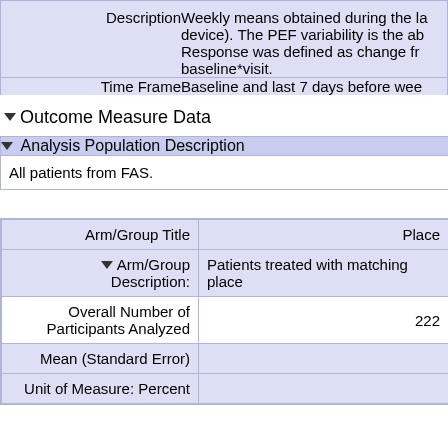| Field | Value |
| --- | --- |
| Description | Weekly means obtained during the la... device). The PEF variability is the ab... Response was defined as change fr... baseline*visit. |
| Time Frame | Baseline and last 7 days before wee... |
▼ Outcome Measure Data
| ▼ Analysis Population Description |
| --- |
| All patients from FAS. |
| Arm/Group Title | Place... |
| --- | --- |
| ▼ Arm/Group Description: | Patients treated with matching place... |
| Overall Number of Participants Analyzed | 222 |
| Mean (Standard Error) |  |
| Unit of Measure: Percent |  |